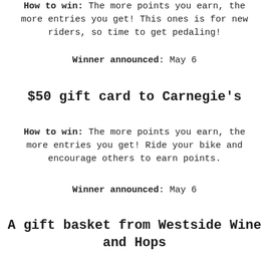How to win: The more points you earn, the more entries you get! This ones is for new riders, so time to get pedaling!
Winner announced: May 6
$50 gift card to Carnegie's
How to win: The more points you earn, the more entries you get! Ride your bike and encourage others to earn points.
Winner announced: May 6
A gift basket from Westside Wine and Hops